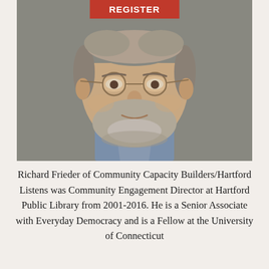[Figure (photo): Headshot of Richard Frieder, a middle-aged man with gray hair, beard, and round wire-rimmed glasses, wearing a collared shirt, against a gray background. A red 'REGISTER' button overlays the top center of the image.]
Richard Frieder of Community Capacity Builders/Hartford Listens was Community Engagement Director at Hartford Public Library from 2001-2016. He is a Senior Associate with Everyday Democracy and is a Fellow at the University of Connecticut